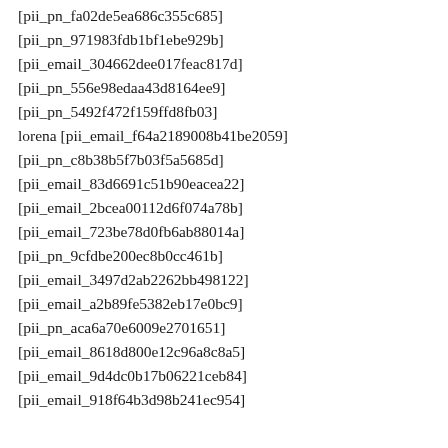[pii_pn_fa02de5ea686c355c685]
[pii_pn_971983fdb1bf1ebe929b]
[pii_email_304662dee017feac817d]
[pii_pn_556e98edaa43d8164ee9]
[pii_pn_5492f472f159ffd8fb03]
lorena [pii_email_f64a2189008b41be2059]
[pii_pn_c8b38b5f7b03f5a5685d]
[pii_email_83d6691c51b90eacea22]
[pii_email_2bcea00112d6f074a78b]
[pii_email_723be78d0fb6ab88014a]
[pii_pn_9cfdbe200ec8b0cc461b]
[pii_email_3497d2ab2262bb498122]
[pii_email_a2b89fe5382eb17e0bc9]
[pii_pn_aca6a70e6009e2701651]
[pii_email_8618d800e12c96a8c8a5]
[pii_email_9d4dc0b17b06221ceb84]
[pii_email_918f64b3d98b241ec954]